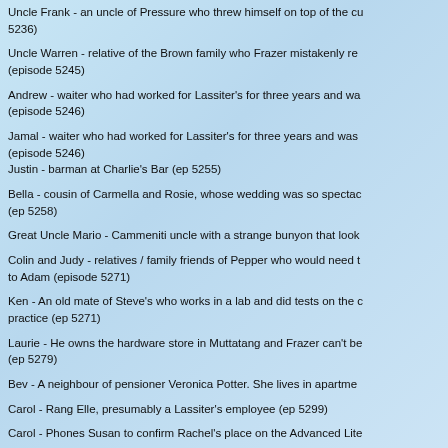Uncle Frank - an uncle of Pressure who threw himself on top of the cake (episode 5236)
Uncle Warren - relative of the Brown family who Frazer mistakenly re... (episode 5245)
Andrew - waiter who had worked for Lassiter's for three years and wa... (episode 5246)
Jamal - waiter who had worked for Lassiter's for three years and was... (episode 5246)
Justin - barman at Charlie's Bar (ep 5255)
Bella - cousin of Carmella and Rosie, whose wedding was so spectac... (ep 5258)
Great Uncle Mario - Cammeniti uncle with a strange bunyon that look...
Colin and Judy - relatives / family friends of Pepper who would need to Adam (episode 5271)
Ken - An old mate of Steve's who works in a lab and did tests on the practice (ep 5271)
Laurie - He owns the hardware store in Muttatang and Frazer can't be... (ep 5279)
Bev - A neighbour of pensioner Veronica Potter. She lives in apartme...
Carol - Rang Elle, presumably a Lassiter's employee (ep 5299)
Carol - Phones Susan to confirm Rachel's place on the Advanced Lite...
Carlo - one of the rivals to the Silvani fruit and veg supply business (e...
Brian - Head of housekeeping at Lassiter's Hotel for nearly twenty ye...
Simone - works in housekeeping [or just maintenance] at Lassiter's H... 5335)
Dave - Steph got through to him on the phone. Works in refuse collec...